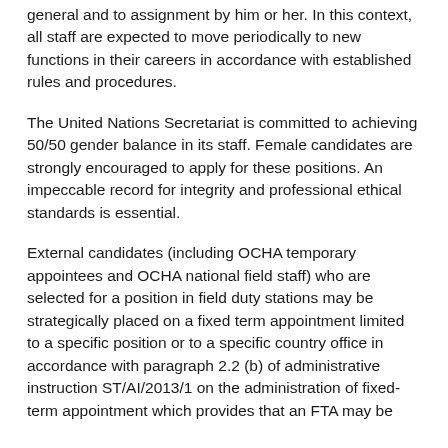general and to assignment by him or her. In this context, all staff are expected to move periodically to new functions in their careers in accordance with established rules and procedures.
The United Nations Secretariat is committed to achieving 50/50 gender balance in its staff. Female candidates are strongly encouraged to apply for these positions. An impeccable record for integrity and professional ethical standards is essential.
External candidates (including OCHA temporary appointees and OCHA national field staff) who are selected for a position in field duty stations may be strategically placed on a fixed term appointment limited to a specific position or to a specific country office in accordance with paragraph 2.2 (b) of administrative instruction ST/AI/2013/1 on the administration of fixed-term appointment which provides that an FTA may be